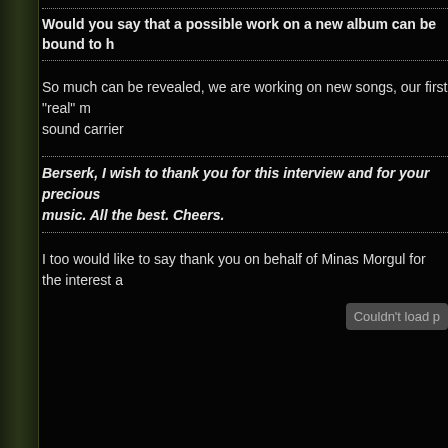Would you say that a possible work on a new album can be bound to h
So much can be revealed, we are working on new songs, our first "real" m sound carrier
Berserk, I wish to thank you for this interview and for your precious music. All the best. Cheers.
I too would like to say thank you on behalf of Minas Morgul for the interest a